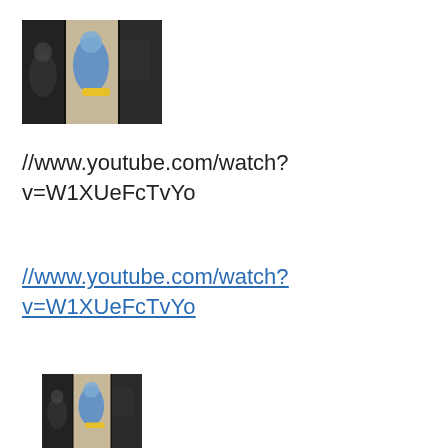[Figure (screenshot): Video thumbnail showing a split-screen image with dark edges. Left panel shows a sketch/shadow figure, center and right panels show a person in blue clothing with a yellow object, viewed from above.]
//www.youtube.com/watch?v=W1XUeFcTvYo
//www.youtube.com/watch?v=W1XUeFcTvYo
[Figure (screenshot): Same video thumbnail as above, partially visible, showing split-screen with dark edges and person in blue clothing.]